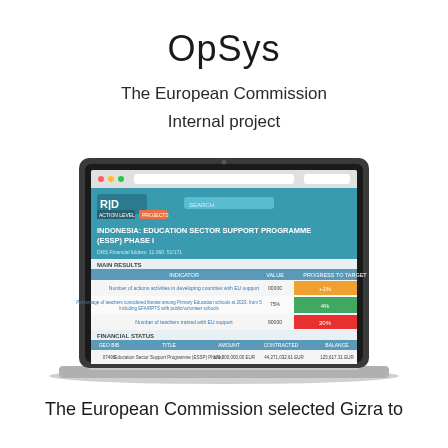OpSys
The European Commission
Internal project
[Figure (screenshot): Laptop mockup showing a web application screenshot of 'OpSys' system displaying Indonesia: Education Sector Support Programme (ESSP) Phase I project details with main results table showing colored progress bars (orange, green, red) and financial status table below.]
The European Commission selected Gizra to